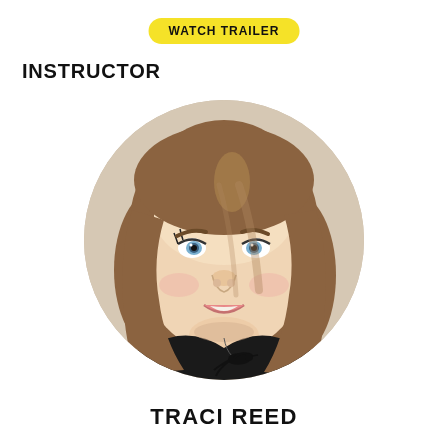WATCH TRAILER
INSTRUCTOR
[Figure (photo): Circular portrait photo of Traci Reed, a woman with straight brown hair, blue eyes, smiling, wearing a black top and a bird necklace]
TRACI REED